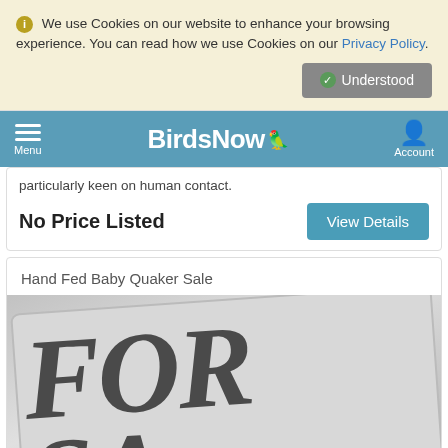We use Cookies on our website to enhance your browsing experience. You can read how we use Cookies on our Privacy Policy.
Understood
BirdsNow — Menu | Account
particularly keen on human contact.
No Price Listed
View Details
Hand Fed Baby Quaker Sale
[Figure (photo): A grayscale 'For Sale' sign shown at an angle, with large italic serif text reading 'FOR SA...' partially visible.]